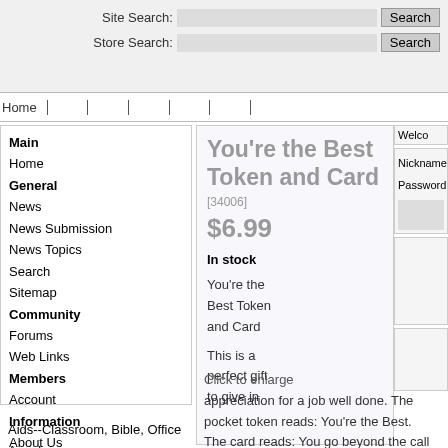Site Search: [input] Search  Store Search: [input] Search
Home | | | | | |
Main
Home
General
News
News Submission
News Topics
Search
Sitemap
Community
Forums
Web Links
Members
Account
Information
About Us
Contact
FAQ
Legal Documents
Link To Us
You're the Best Token and Card
[34006]
$6.99
In stock
You're the Best Token and Card
This is a perfect gift to give in
Welco
Nickname
Password
Click to enlarge appreciation for a job well done. The pocket token reads: You're the Best. The card reads: You go beyond the call of duty, you're a cut above the rest, and with great appreciation, I declare that you're the best!
Aids--Classroom, Bible, Office
Angels
Automotive
Bereavement & Memorial
Bible Center
Books
Candles & Necessities
Church Supplies
Clothing
Collectibles/Figurines
Crosses/Crucifixes
Devotions